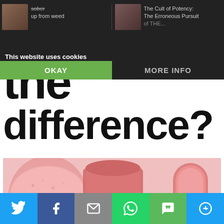[Figure (screenshot): Cookie consent banner overlay on a website showing two article thumbnails with text about cannabis topics, with OKAY and MORE INFO buttons]
the difference?
[Figure (photo): Close-up photo of pink/red prescription pill bottles with cannabis bud spilling out, tweezers nearby, on a pink background]
[Figure (screenshot): Social sharing bar at bottom with Twitter, Facebook, Email, WhatsApp, SMS, and More buttons]